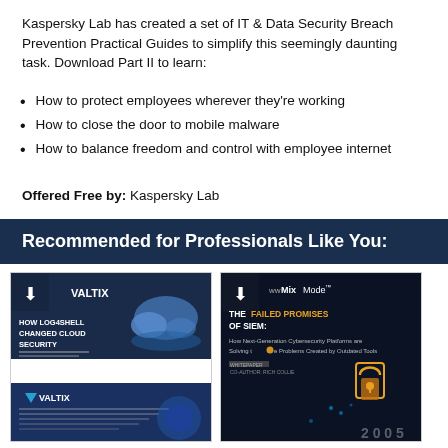Kaspersky Lab has created a set of IT & Data Security Breach Prevention Practical Guides to simplify this seemingly daunting task. Download Part II to learn:
How to protect employees wherever they're working
How to close the door to mobile malware
How to balance freedom and control with employee internet
Offered Free by: Kaspersky Lab
Recommended for Professionals Like You:
[Figure (illustration): Valtix promotional card showing 'How Log4Shell Changed Cloud Security' with a cloud graphic]
[Figure (illustration): MixMode promotional card showing 'The Failed Promises of SIEM: How Next-Generation Cybersecurity Platforms are Solving the Problems Created by Outdated Tools' with a lock graphic]